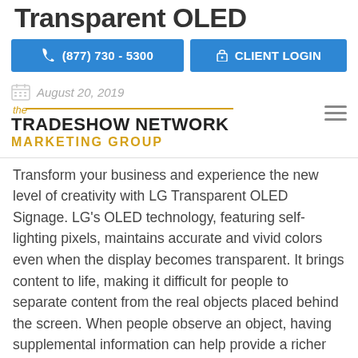Transparent OLED
(877) 730 - 5300 | CLIENT LOGIN
August 20, 2019
[Figure (logo): The Tradeshow Network Marketing Group logo with golden yellow accent lines and text]
Transform your business and experience the new level of creativity with LG Transparent OLED Signage. LG's OLED technology, featuring self-lighting pixels, maintains accurate and vivid colors even when the display becomes transparent. It brings content to life, making it difficult for people to separate content from the real objects placed behind the screen. When people observe an object, having supplemental information can help provide a richer understanding. In this case, LG Transparent OLED signage is the optimal solution. While clearly showing objects behind the screen, it overlays information right over